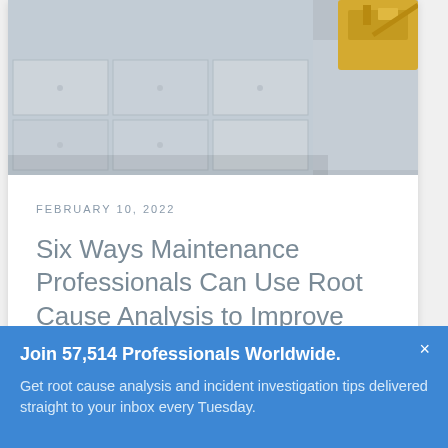[Figure (photo): Construction site photo showing concrete tiles or slabs on the ground with yellow heavy equipment visible in the upper right corner]
FEBRUARY 10, 2022
Six Ways Maintenance Professionals Can Use Root Cause Analysis to Improve Equipment Performance
Read More >
Join 57,514 Professionals Worldwide.
Get root cause analysis and incident investigation tips delivered straight to your inbox every Tuesday.